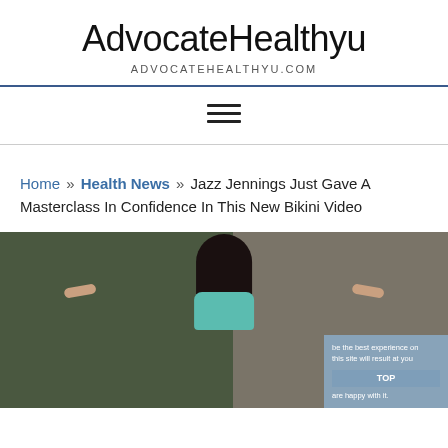AdvocateHealthyu
ADVOCATEHEALTHYU.COM
≡ (navigation menu icon)
Home » Health News » Jazz Jennings Just Gave A Masterclass In Confidence In This New Bikini Video
[Figure (photo): Photo of a young woman with long dark hair wearing a teal/mint bikini top, arms spread wide, smiling, outdoors with greenery and a building column in background. Overlay ad text partially visible on right side.]